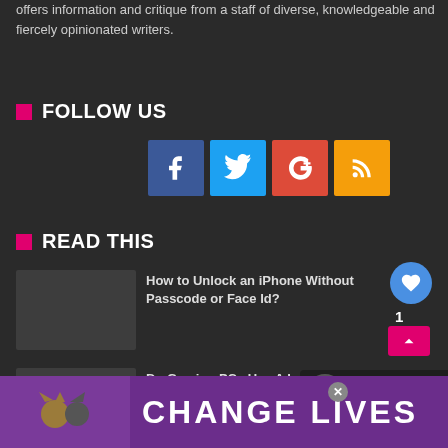offers information and critique from a staff of diverse, knowledgeable and fiercely opinionated writers.
FOLLOW US
[Figure (other): Row of four social media icons: Facebook (blue), Twitter (light blue), Google Plus (red), RSS (orange/yellow)]
READ THIS
How to Unlock an iPhone Without Passcode or Face Id?
Do Gaming PCs Use A Lot Of Ele...
[Figure (other): WHAT'S NEXT banner: This amazing new trailer f...]
[Figure (other): Advertisement banner: CHANGE LIVES with cat photo]